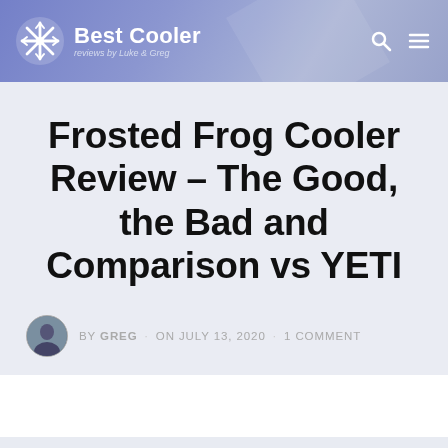Best Cooler — reviews by Luke & Greg
Frosted Frog Cooler Review – The Good, the Bad and Comparison vs YETI
BY GREG · ON JULY 13, 2020 · 1 COMMENT